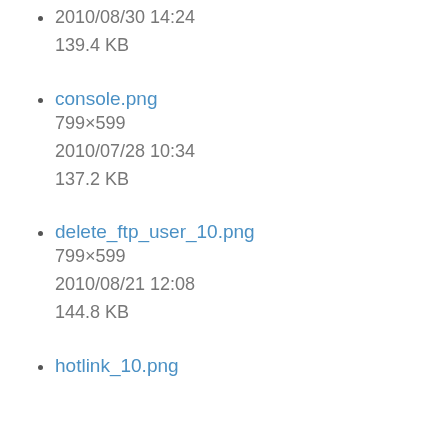2010/08/30 14:24
139.4 KB
console.png
799×599
2010/07/28 10:34
137.2 KB
delete_ftp_user_10.png
799×599
2010/08/21 12:08
144.8 KB
hotlink_10.png